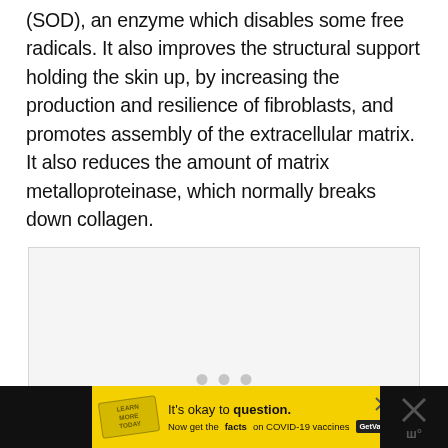(SOD), an enzyme which disables some free radicals. It also improves the structural support holding the skin up, by increasing the production and resilience of fibroblasts, and promotes assembly of the extracellular matrix. It also reduces the amount of matrix metalloproteinase, which normally breaks down collagen.
[Figure (other): Empty light gray image placeholder box]
[Figure (infographic): Advertisement bar at bottom: black background on sides, yellow background in center. Stamp/badge graphic on left. Text reads: It's okay to question. Now get the facts on COVID-19 vaccines. GetVaccineAnswers.org button. Close X icons.]